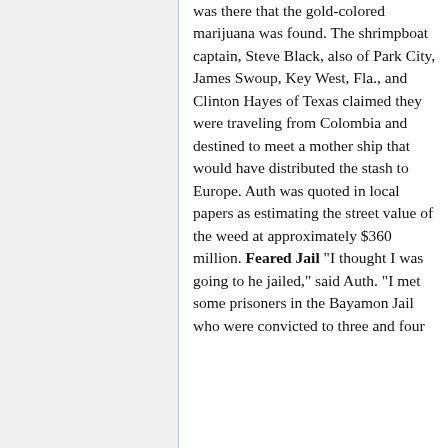was there that the gold-colored marijuana was found. The shrimpboat captain, Steve Black, also of Park City, James Swoup, Key West, Fla., and Clinton Hayes of Texas claimed they were traveling from Colombia and destined to meet a mother ship that would have distributed the stash to Europe. Auth was quoted in local papers as estimating the street value of the weed at approximately $360 million. Feared Jail "I thought I was going to he jailed," said Auth. "I met some prisoners in the Bayamon Jail who were convicted to three and four